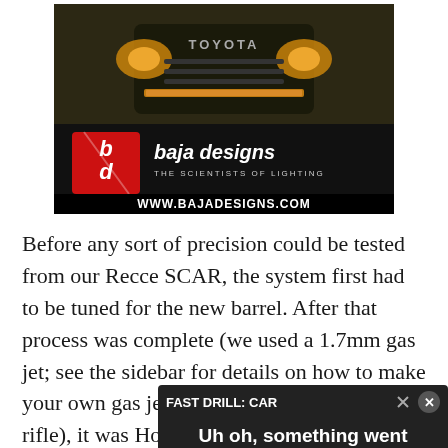[Figure (photo): Baja Designs advertisement showing a Toyota 4Runner with off-road lights, Baja Designs logo, tagline 'THE SCIENTISTS OF LIGHTING', and website www.bajadesigns.com]
Before any sort of precision could be tested from our Recce SCAR, the system first had to be tuned for the new barrel. After that process was complete (we used a 1.7mm gas jet; see the sidebar for details on how to make your own gas jets and also tune your own rifle), it was [partially obscured] Hornady ELD Match amm[unition with an] average of 2,417 fps, and [then fed into] our Applied Ballistics softw[are]
[Figure (screenshot): Video player overlay showing 'FAST DRILL: CAR' title with error message 'Uh oh, something went wrong' and playback controls showing 0:00 timestamp]